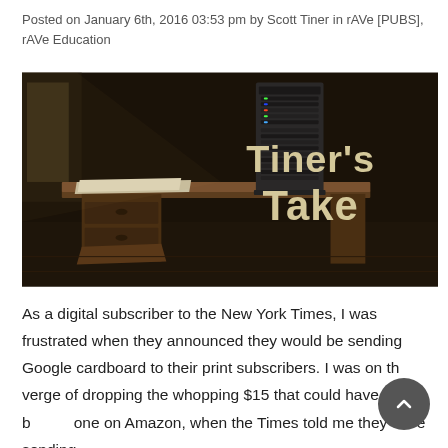Posted on January 6th, 2016 03:53 pm by Scott Tiner in rAVe [PUBS], rAVe Education
[Figure (photo): Dark atmospheric photo of an old wooden office desk with papers on it, a tall server rack standing behind it, and the text 'Tiner's Take' displayed in large bold cream-colored letters on the right side against the dark background.]
As a digital subscriber to the New York Times, I was frustrated when they announced they would be sending Google cardboard to their print subscribers. I was on the verge of dropping the whopping $15 that could have bought one on Amazon, when the Times told me they were sending